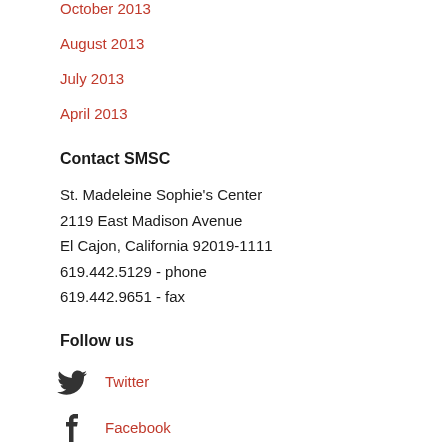October 2013
August 2013
July 2013
April 2013
Contact SMSC
St. Madeleine Sophie's Center
2119 East Madison Avenue
El Cajon, California 92019-1111
619.442.5129 - phone
619.442.9651 - fax
Follow us
Twitter
Facebook
YouTube